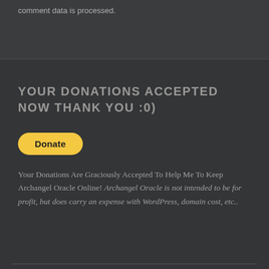comment data is processed.
YOUR DONATIONS ACCEPTED NOW THANK YOU :0)
[Figure (other): Yellow PayPal-style Donate button with rounded corners]
Your Donations Are Graciously Accepted To Help Me To Keep Archangel Oracle Online! Archangel Oracle is not intended to be for profit, but does carry an expense with WordPress, domain cost, etc..